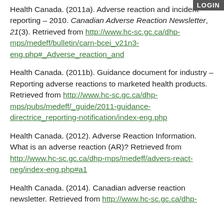Health Canada. (2011a). Adverse reaction and incident reporting – 2010. Canadian Adverse Reaction Newsletter, 21(3). Retrieved from http://www.hc-sc.gc.ca/dhp-mps/medeff/bulletin/carn-bcei_v21n3-eng.php#_Adverse_reaction_and
Health Canada. (2011b). Guidance document for industry – Reporting adverse reactions to marketed health products. Retrieved from http://www.hc-sc.gc.ca/dhp-mps/pubs/medeff/_guide/2011-guidance-directrice_reporting-notification/index-eng.php
Health Canada. (2012). Adverse Reaction Information. What is an adverse reaction (AR)? Retrieved from http://www.hc-sc.gc.ca/dhp-mps/medeff/advers-react-neg/index-eng.php#a1
Health Canada. (2014). Canadian adverse reaction newsletter. Retrieved from http://www.hc-sc.gc.ca/dhp-
LOGIN